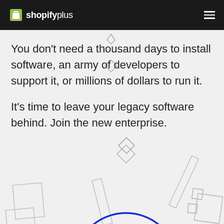shopify plus
You don't need a thousand days to install software, an army of developers to support it, or millions of dollars to run it.
It's time to leave your legacy software behind. Join the new enterprise.
[Figure (illustration): Decorative geometric shapes including rectangles, diamonds, and a large blue circle outline scattered in the lower portion of the page background]